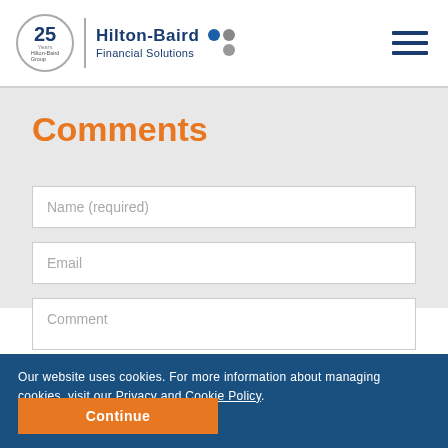[Figure (logo): Hilton-Baird Financial Solutions logo with 25th anniversary circle emblem and navigation hamburger menu]
Comments
Name (required)
Email
Comment
Our website uses cookies. For more information about managing cookies, visit our Privacy and Cookie Policy.
Continue